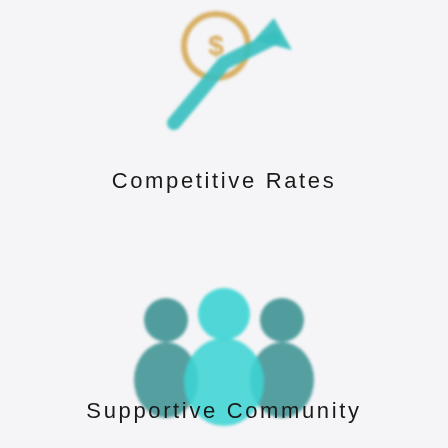[Figure (illustration): Icon of a dollar coin with a teal upward-trending arrow, representing competitive rates]
Competitive Rates
[Figure (illustration): Icon of three human silhouettes in teal/cyan colors representing a supportive community]
Supportive Community